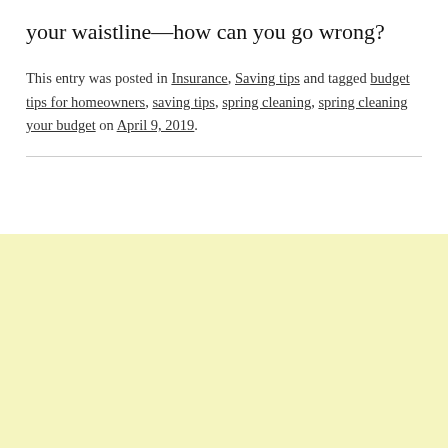your waistline—how can you go wrong?
This entry was posted in Insurance, Saving tips and tagged budget tips for homeowners, saving tips, spring cleaning, spring cleaning your budget on April 9, 2019.
[Figure (other): Light yellow advertisement banner area at the bottom of the page]